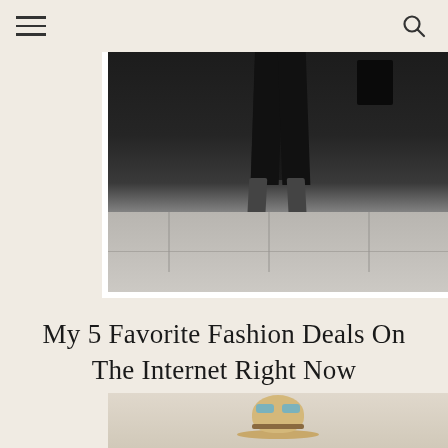Navigation header with hamburger menu and search icon
[Figure (photo): Close-up photo of a person's legs from the knees down wearing black pants and strappy heeled sandals, standing on a light grey stone pavement]
My 5 Favorite Fashion Deals On The Internet Right Now
[Figure (photo): Partial photo of a woman wearing a straw hat with sunglasses, beginning of a second fashion blog post image]